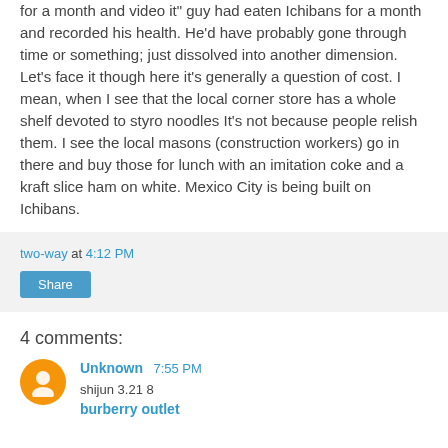for a month and video it" guy had eaten Ichibans for a month and recorded his health. He'd have probably gone through time or something; just dissolved into another dimension. Let's face it though here it's generally a question of cost. I mean, when I see that the local corner store has a whole shelf devoted to styro noodles It's not because people relish them. I see the local masons (construction workers) go in there and buy those for lunch with an imitation coke and a kraft slice ham on white. Mexico City is being built on Ichibans.
two-way at 4:12 PM
Share
4 comments:
Unknown 7:55 PM
shijun 3.21 8
burberry outlet